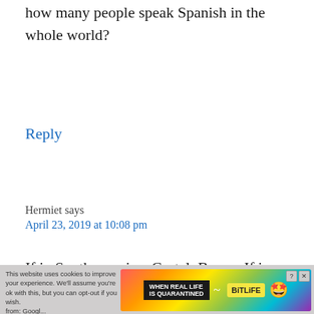how many people speak Spanish in the whole world?
Reply
Hermiet says
April 23, 2019 at 10:08 pm
If in South america, CasteloBruxo, If in North America, Ilvermony, If In Spain, Beauxbatons
This website ... from: Googl... Engine. Am... WHEN REAL LIFE IS QUARANTINED BitLife